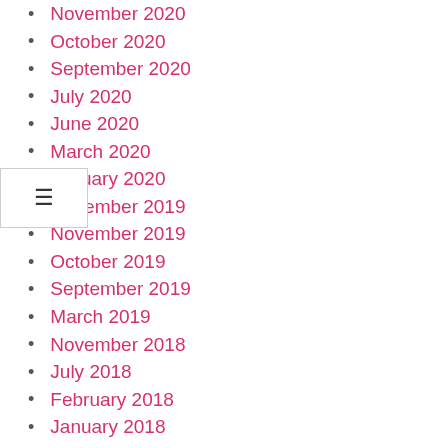November 2020
October 2020
September 2020
July 2020
June 2020
March 2020
January 2020
December 2019
November 2019
October 2019
September 2019
March 2019
November 2018
July 2018
February 2018
January 2018
June 2017
May 2017
April 2017